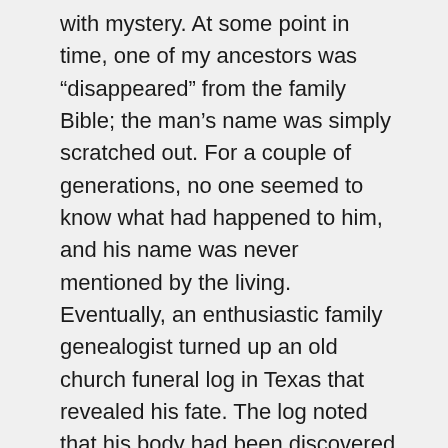with mystery. At some point in time, one of my ancestors was “disappeared” from the family Bible; the man’s name was simply scratched out. For a couple of generations, no one seemed to know what had happened to him, and his name was never mentioned by the living. Eventually, an enthusiastic family genealogist turned up an old church funeral log in Texas that revealed his fate. The log noted that his body had been discovered—beheaded—lying on a train track. Next to the dead man’s name, the minister had written a single-word question: “Murdered?”
With this kind of genetic legacy, is it any surprise that I feel compelled to write novels